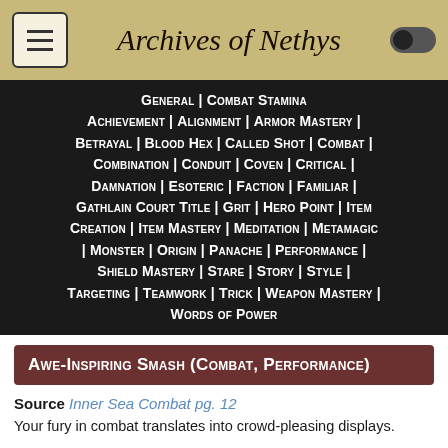Archives of Nethys
General | Combat Stamina Achievement | Alignment | Armor Mastery | Betrayal | Blood Hex | Called Shot | Combat | Combination | Conduit | Coven | Critical | Damnation | Esoteric | Faction | Familiar | Gathlain Court Title | Grit | Hero Point | Item Creation | Item Mastery | Meditation | Metamagic | Monster | Origin | Panache | Performance | Shield Mastery | Stare | Story | Style | Targeting | Teamwork | Trick | Weapon Mastery | Words of Power
Awe-Inspiring Smash (Combat, Performance)
Source Inner Sea Combat pg. 12
Your fury in combat translates into crowd-pleasing displays.